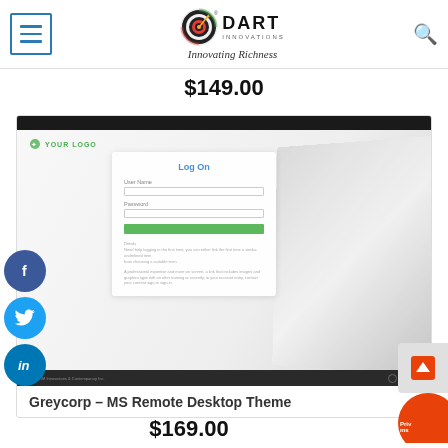[Figure (logo): Dart Innovations logo with dartboard icon and tagline 'Innovating Richness']
$149.00
[Figure (screenshot): Screenshot of Greycorp MS Remote Desktop Theme showing a login page with 'Log On' form, username and password fields, green submit button, and a laptop in the background]
Greycorp – MS Remote Desktop Theme
$169.00